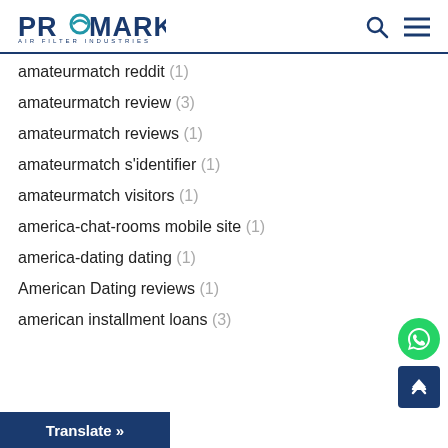PROMARK AIR FILTER INDUSTRIES
amateurmatch reddit (1)
amateurmatch review (3)
amateurmatch reviews (1)
amateurmatch s'identifier (1)
amateurmatch visitors (1)
america-chat-rooms mobile site (1)
america-dating dating (1)
American Dating reviews (1)
american installment loans (3)